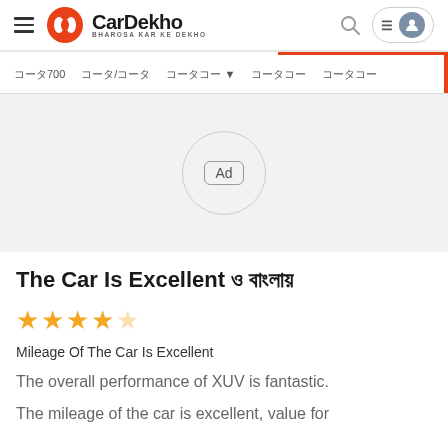CarDekho BHAROSA KAR KE DEKHO
[Figure (screenshot): Ad placeholder circle with 'Ad' label inside]
The Car Is Excellent ও বাংলায়
[Figure (other): Star rating: 4 out of 5 stars (half star)]
Mileage Of The Car Is Excellent
The overall performance of XUV is fantastic.
The mileage of the car is excellent, value for